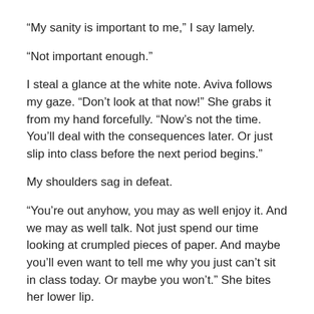“My sanity is important to me,” I say lamely.
“Not important enough.”
I steal a glance at the white note. Aviva follows my gaze. “Don’t look at that now!” She grabs it from my hand forcefully. “Now’s not the time. You’ll deal with the consequences later. Or just slip into class before the next period begins.”
My shoulders sag in defeat.
“You’re out anyhow, you may as well enjoy it. And we may as well talk. Not just spend our time looking at crumpled pieces of paper. And maybe you’ll even want to tell me why you just can’t sit in class today. Or maybe you won’t.” She bites her lower lip.
The acrylics are really gross.